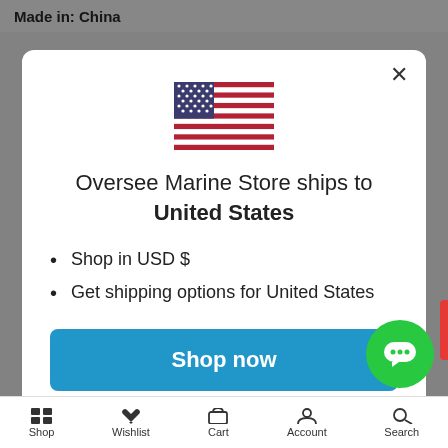Made in: China
[Figure (screenshot): US flag emoji displayed at top center of modal dialog]
Oversee Marine Store ships to United States
Shop in USD $
Get shipping options for United States
Shop now
Change shipping country
Shop  Wishlist  Cart  Account  Search